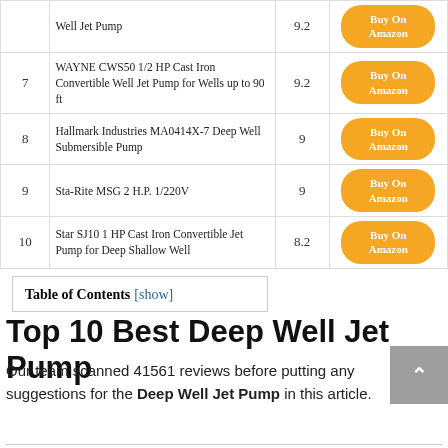| # | Product | Score |  |
| --- | --- | --- | --- |
|  | Well Jet Pump | 9.2 | Buy On Amazon |
| 7 | WAYNE CWS50 1/2 HP Cast Iron Convertible Well Jet Pump for Wells up to 90 ft | 9.2 | Buy On Amazon |
| 8 | Hallmark Industries MA0414X-7 Deep Well Submersible Pump | 9 | Buy On Amazon |
| 9 | Sta-Rite MSG 2 H.P. 1/220V | 9 | Buy On Amazon |
| 10 | Star SJ10 1 HP Cast Iron Convertible Jet Pump for Deep Shallow Well | 8.2 | Buy On Amazon |
Table of Contents [show]
Top 10 Best Deep Well Jet Pump
Our team scanned 41561 reviews before putting any suggestions for the Deep Well Jet Pump in this article.